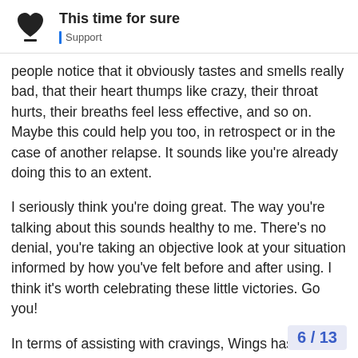This time for sure | Support
people notice that it obviously tastes and smells really bad, that their heart thumps like crazy, their throat hurts, their breaths feel less effective, and so on. Maybe this could help you too, in retrospect or in the case of another relapse. It sounds like you're already doing this to an extent.
I seriously think you're doing great. The way you're talking about this sounds healthy to me. There's no denial, you're taking an objective look at your situation informed by how you've felt before and after using. I think it's worth celebrating these little victories. Go you!
In terms of assisting with cravings, Wings has mentioned what I would have tried to say already. The habits you're dropping leave behind a lot of empty space, and that space will feel less glaring if you fill it with something else. That could be anything, but healthier coping habits like exercise are definitely a great idea. A stationary bike would be perfect! S[...] help to do something creative with the fee[...]
6 / 13